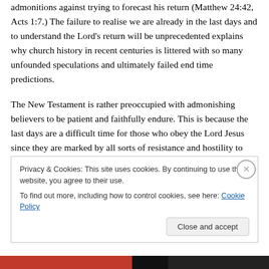admonitions against trying to forecast his return (Matthew 24:42, Acts 1:7.) The failure to realise we are already in the last days and to understand the Lord's return will be unprecedented explains why church history in recent centuries is littered with so many unfounded speculations and ultimately failed end time predictions.
The New Testament is rather preoccupied with admonishing believers to be patient and faithfully endure. This is because the last days are a difficult time for those who obey the Lord Jesus since they are marked by all sorts of resistance and hostility to Christ's reign (Acts 4:24-
Privacy & Cookies: This site uses cookies. By continuing to use this website, you agree to their use.
To find out more, including how to control cookies, see here: Cookie Policy